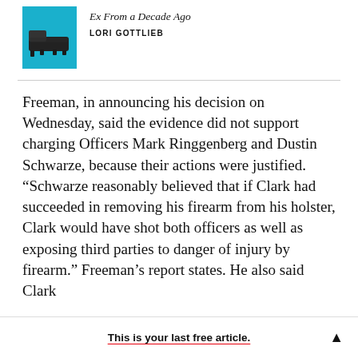[Figure (illustration): Book cover thumbnail in blue showing a couch/chaise lounge]
Ex From a Decade Ago
LORI GOTTLIEB
Freeman, in announcing his decision on Wednesday, said the evidence did not support charging Officers Mark Ringgenberg and Dustin Schwarze, because their actions were justified. “Schwartze reasonably believed that if Clark had succeeded in removing his firearm from his holster, Clark would have shot both officers as well as exposing third parties to danger of injury by firearm.” Freeman’s report states. He also said Clark
This is your last free article.